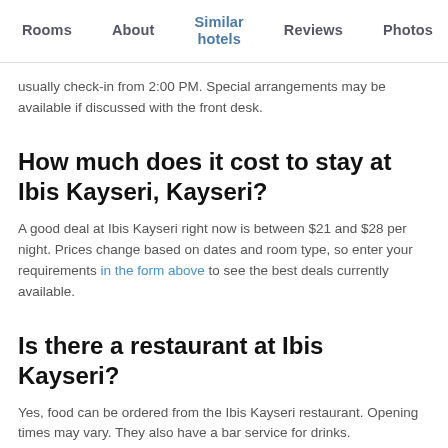Rooms  About  Similar hotels  Reviews  Photos  Loca…
usually check-in from 2:00 PM. Special arrangements may be available if discussed with the front desk.
How much does it cost to stay at Ibis Kayseri, Kayseri?
A good deal at Ibis Kayseri right now is between $21 and $28 per night. Prices change based on dates and room type, so enter your requirements in the form above to see the best deals currently available.
Is there a restaurant at Ibis Kayseri?
Yes, food can be ordered from the Ibis Kayseri restaurant. Opening times may vary. They also have a bar service for drinks.